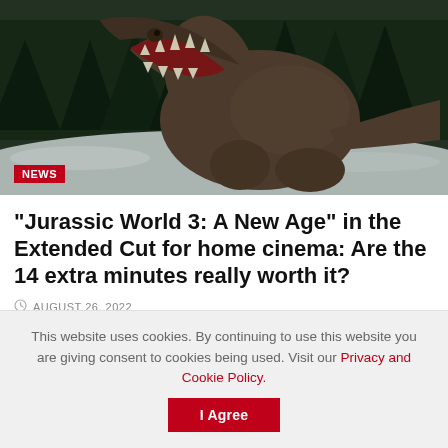[Figure (photo): A large T-Rex dinosaur roaring with mouth open wide, set in a snowy forest with tall green pine trees in the background. Dark atmospheric scene from Jurassic World movie.]
“Jurassic World 3: A New Age” in the Extended Cut for home cinema: Are the 14 extra minutes really worth it?
AUGUST 26, 2022
This website uses cookies. By continuing to use this website you are giving consent to cookies being used. Visit our Privacy and Cookie Policy.